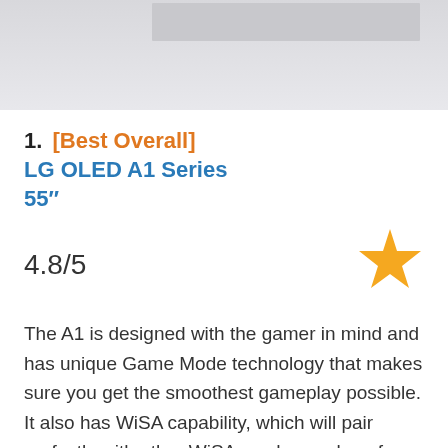[Figure (photo): Top portion of a TV product image, showing the screen bezel area against a light gray background]
1. [Best Overall] LG OLED A1 Series 55"
4.8/5
[Figure (illustration): Gold/orange star icon representing a rating]
The A1 is designed with the gamer in mind and has unique Game Mode technology that makes sure you get the smoothest gameplay possible. It also has WiSA capability, which will pair perfectly with other WiSA-ready speakers for